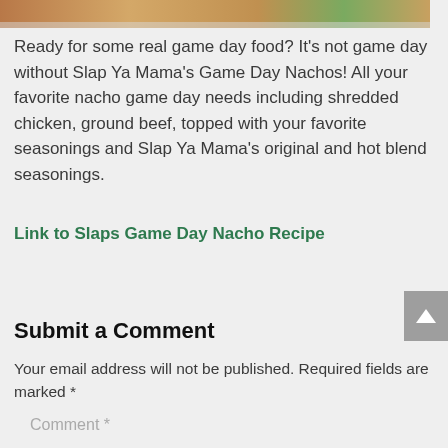[Figure (photo): Partial food photo at the top of the page showing nachos or similar game day food]
Ready for some real game day food? It's not game day without Slap Ya Mama's Game Day Nachos! All your favorite nacho game day needs including shredded chicken, ground beef, topped with your favorite seasonings and Slap Ya Mama's original and hot blend seasonings.
Link to Slaps Game Day Nacho Recipe
Submit a Comment
Your email address will not be published. Required fields are marked *
Comment *